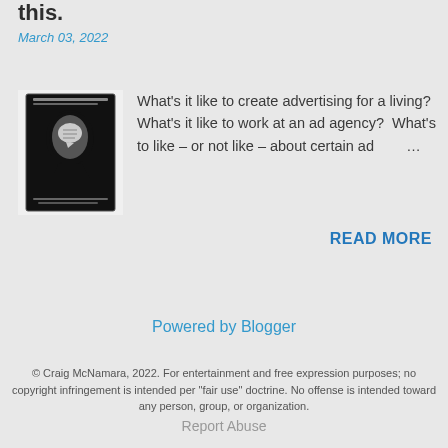this.
March 03, 2022
[Figure (illustration): Book cover showing a silhouette of a human head in profile with a speech bubble inside the head, black and white illustration, author name Craig McNamara at bottom]
What's it like to create advertising for a living? What's it like to work at an ad agency? What's to like – or not like – about certain ad …
READ MORE
Powered by Blogger
© Craig McNamara, 2022. For entertainment and free expression purposes; no copyright infringement is intended per "fair use" doctrine. No offense is intended toward any person, group, or organization.
Report Abuse